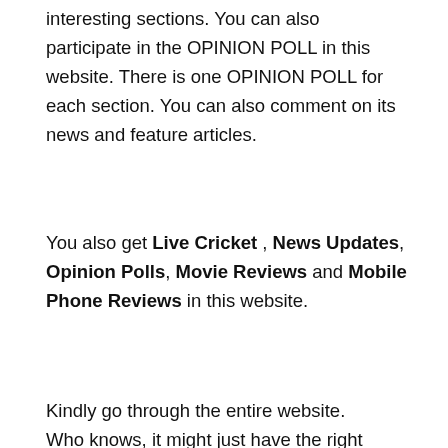interesting sections. You can also participate in the OPINION POLL in this website. There is one OPINION POLL for each section. You can also comment on its news and feature articles.
You also get Live Cricket , News Updates, Opinion Polls, Movie Reviews and Mobile Phone Reviews in this website.
Kindly go through the entire website. Who knows, it might just have the right kind of stuff that you are looking for. If you like this website, can you please recommend it to at least 5 of your friends. Your little help would help us in a big way.